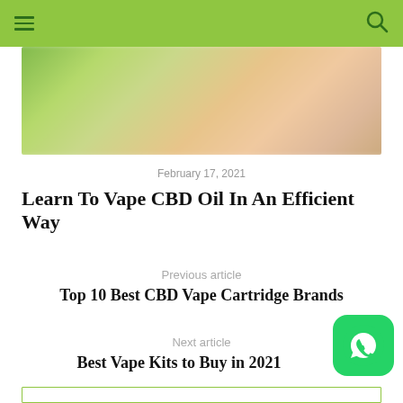Navigation bar with hamburger menu and search icon
[Figure (photo): Blurred outdoor/nature photo with green and warm tones, possibly a person near plants]
February 17, 2021
Learn To Vape CBD Oil In An Efficient Way
Previous article
Top 10 Best CBD Vape Cartridge Brands
Next article
Best Vape Kits to Buy in 2021
[Figure (logo): WhatsApp button icon, green rounded square with white phone/chat bubble icon]